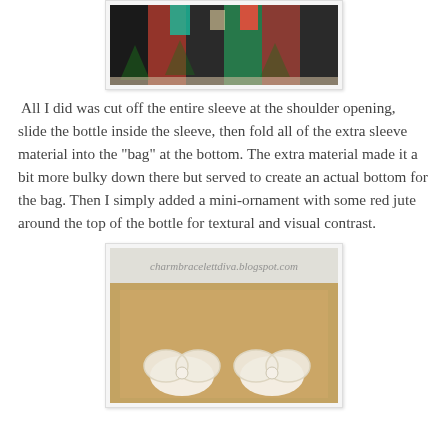[Figure (photo): A decorated gift box with Christmas-themed fabric wrapping in dark colors with colorful patterns, sitting on a surface.]
All I did was cut off the entire sleeve at the shoulder opening, slide the bottle inside the sleeve, then fold all of the extra sleeve material into the "bag" at the bottom. The extra material made it a bit more bulky down there but served to create an actual bottom for the bag. Then I simply added a mini-ornament with some red jute around the top of the bottle for textural and visual contrast.
[Figure (photo): A craft paper bag or package decorated with white crocheted doily bow/butterfly shapes, with the watermark 'charmbracelettdiva.blogspot.com' visible at the top.]